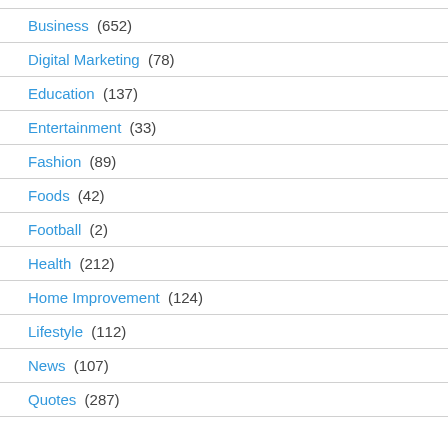Business (652)
Digital Marketing (78)
Education (137)
Entertainment (33)
Fashion (89)
Foods (42)
Football (2)
Health (212)
Home Improvement (124)
Lifestyle (112)
News (107)
Quotes (287)